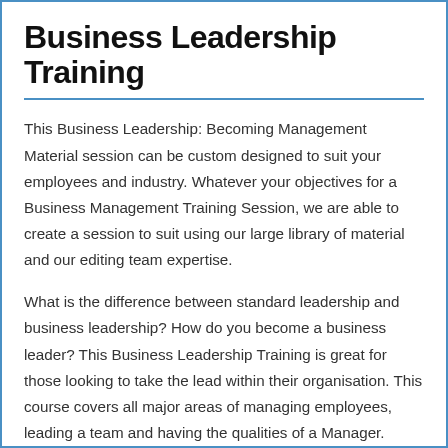Business Leadership Training
This Business Leadership: Becoming Management Material session can be custom designed to suit your employees and industry. Whatever your objectives for a Business Management Training Session, we are able to create a session to suit using our large library of material and our editing team expertise.
What is the difference between standard leadership and business leadership? How do you become a business leader? This Business Leadership Training is great for those looking to take the lead within their organisation. This course covers all major areas of managing employees, leading a team and having the qualities of a Manager.
Management can be thought of as doing things right, whereas leadership can be seen as doing the right things. Leaders also…